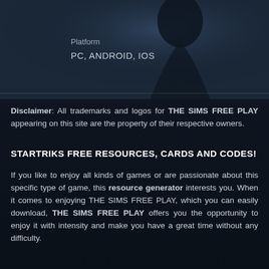[Figure (illustration): Dark background with a silhouette figure (resembling a sci-fi villain) in the upper portion of the page, dark blue-grey tones.]
Platform
PC, ANDROID, IOS
Disclaimer: All trademarks and logos for THE SIMS FREE PLAY appearing on this site are the property of their respective owners.
STARTRIKS FREE RESOURCES, CARDS AND CODES!
If you like to enjoy all kinds of games or are passionate about this specific type of game, this resource generator interests you. When it comes to enjoying THE SIMS FREE PLAY, which you can easily download, THE SIMS FREE PLAY offers you the opportunity to enjoy it with intensity and make you have a great time without any difficulty.